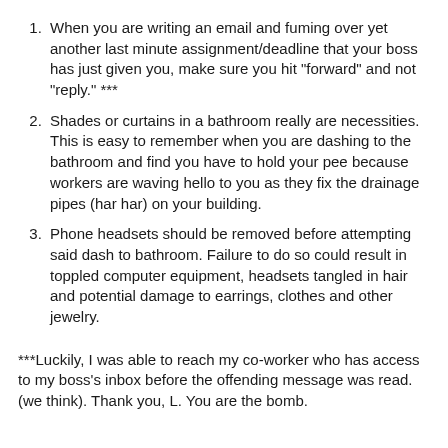When you are writing an email and fuming over yet another last minute assignment/deadline that your boss has just given you, make sure you hit "forward" and not "reply." ***
Shades or curtains in a bathroom really are necessities. This is easy to remember when you are dashing to the bathroom and find you have to hold your pee because workers are waving hello to you as they fix the drainage pipes (har har) on your building.
Phone headsets should be removed before attempting said dash to bathroom. Failure to do so could result in toppled computer equipment, headsets tangled in hair and potential damage to earrings, clothes and other jewelry.
***Luckily, I was able to reach my co-worker who has access to my boss's inbox before the offending message was read. (we think). Thank you, L. You are the bomb.